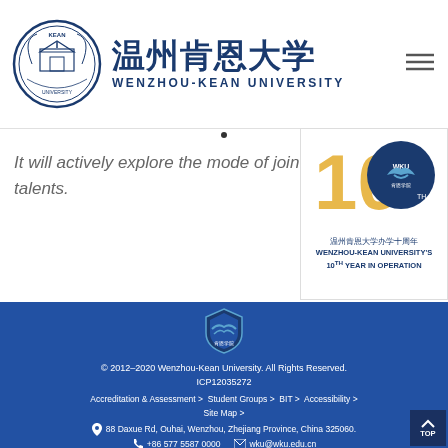[Figure (logo): Wenzhou-Kean University circular seal logo with Chinese characters and English name below]
It will actively explore the mode of jointly cultiva talents.
[Figure (logo): Wenzhou-Kean University 10th Year in Operation anniversary badge with '10' in gold and navy]
[Figure (logo): WKU shield logo in footer]
© 2012–2020 Wenzhou-Kean University. All Rights Reserved. ICP12035272 Accreditation & Assessment > Student Groups > BIT > Accessibility > Site Map > 88 Daxue Rd, Ouhai, Wenzhou, Zhejiang Province, China 325060. +86 577 5587 0000 wku@wku.edu.cn